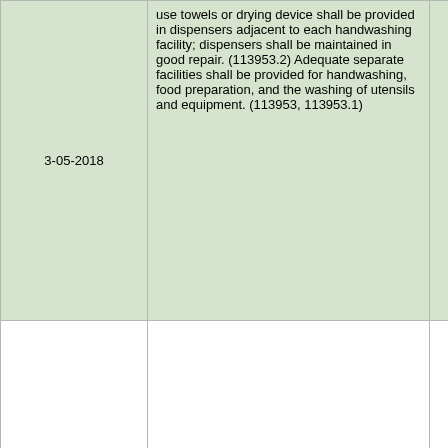| Date | Description | Score | Notes |
| --- | --- | --- | --- |
| 3-05-2018 | use towels or drying device shall be provided in dispensers adjacent to each handwashing facility; dispensers shall be maintained in good repair. (113953.2) Adequate separate facilities shall be provided for handwashing, food preparation, and the washing of utensils and equipment. (113953, 113953.1) | 2.00 | objects in handwas place item cloths in t

Handwas equipped under pre 15 secon water pro adjustable temperatu at least 10 than 108° provided at, or adja facilities ( use sanita blowers s handwash approved |
|  |  |  |  |